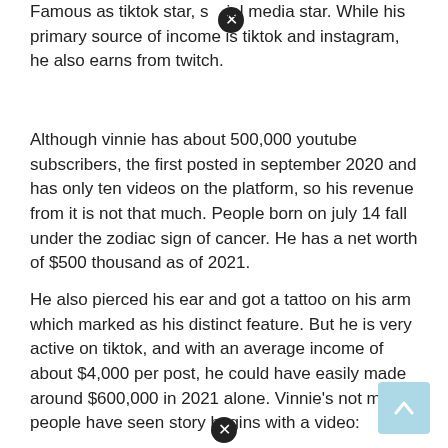Famous as tiktok star, social media star. While his primary source of income is tiktok and instagram, he also earns from twitch.
Although vinnie has about 500,000 youtube subscribers, the first posted in september 2020 and has only ten videos on the platform, so his revenue from it is not that much. People born on july 14 fall under the zodiac sign of cancer. He has a net worth of $500 thousand as of 2021.
He also pierced his ear and got a tattoo on his arm which marked as his distinct feature. But he is very active on tiktok, and with an average income of about $4,000 per post, he could have easily made around $600,000 in 2021 alone. Vinnie's not many people have seen story begins with a video: